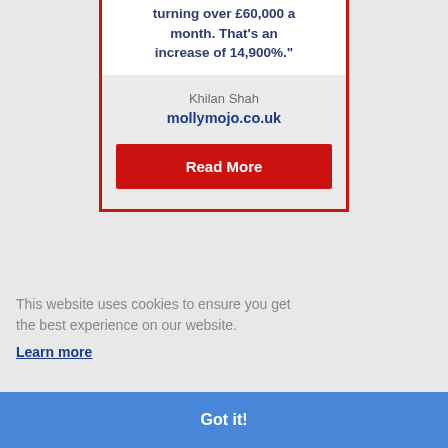turning over £60,000 a month. That's an increase of 14,900%."
Khilan Shah
mollymojo.co.uk
Read More
This website uses cookies to ensure you get the best experience on our website.
Learn more
Got it!